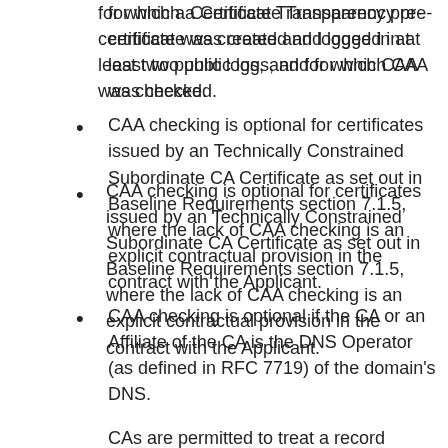for which a Certificate Transparency pre-certificate was created and logged in at least two public logs, and for which CAA was checked.
CAA checking is optional for certificates issued by an Technically Constrained Subordinate CA Certificate as set out in Baseline Requirements section 7.1.5, where the lack of CAA checking is an explicit contractual provision in the contract with the Applicant.
CAA checking is optional if the CA or an Affiliate of the CA is the DNS Operator (as defined in RFC 7719) of the domain's DNS.
CAs are permitted to treat a record lookup failure as permission to issue if: